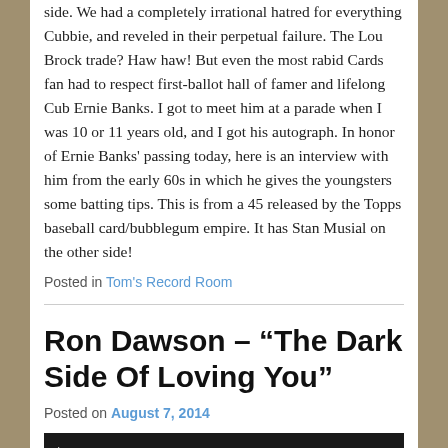side. We had a completely irrational hatred for everything Cubbie, and reveled in their perpetual failure. The Lou Brock trade? Haw haw! But even the most rabid Cards fan had to respect first-ballot hall of famer and lifelong Cub Ernie Banks. I got to meet him at a parade when I was 10 or 11 years old, and I got his autograph. In honor of Ernie Banks' passing today, here is an interview with him from the early 60s in which he gives the youngsters some batting tips. This is from a 45 released by the Topps baseball card/bubblegum empire. It has Stan Musial on the other side!
Posted in Tom's Record Room
Ron Dawson – “The Dark Side Of Loving You”
Posted on August 7, 2014
[Figure (screenshot): Video player thumbnail with dark background and white play button arrow]